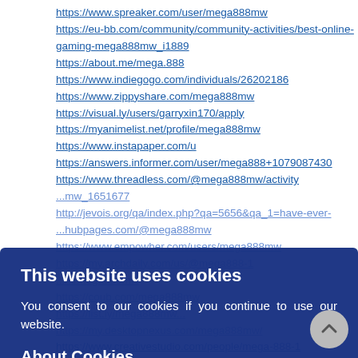https://www.spreaker.com/user/mega888mw
https://eu-bb.com/community/community-activities/best-online-gaming-mega888mw_i1889
https://about.me/mega.888
https://www.indiegogo.com/individuals/26202186
https://www.zippyshare.com/mega888mw
https://visual.ly/users/garryxin170/apply
https://myanimelist.net/profile/mega888mw
https://www.instapaper.com/u
https://answers.informer.com/user/mega888+1079087430
https://www.threadless.com/@mega888mw/activity
...mw_1651677
http://jevois.org/qa/index.php?qa=5656&qa_1=have-ever-
...hubpages.com/@mega888mw
https://www.empowher.com/users/mega888mw
https://my.archdaily.com/us/@mega888-1
...m/mega888mw
https://coub.com/mega888mw
https://list.ly/mega888mw...
https://my.desktopnexus.com/mega888mw/
https://www.creativestudio.com/people/mega-888-1
http://sqworl.com/v1dwkk
https://www.wishlistr.com/profile/
https://play.eslgaming.com/player/16650564/
https://share.bizsugar.com/user/
http://shaboxes.com/dashboard/
http://rispondipa.it/user/mega888mw
[Figure (infographic): Cookie consent overlay dialog with dark blue background showing 'This website uses cookies' heading, consent text, 'About Cookies' link, and OK button]
[Figure (infographic): Scroll-to-top circular gray button with upward arrow in bottom right corner]